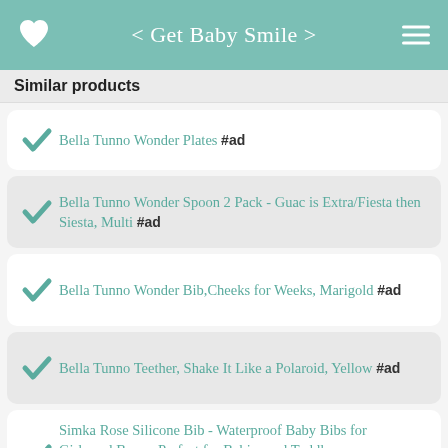< Get Baby Smile >
Similar products
Bella Tunno Wonder Plates #ad
Bella Tunno Wonder Spoon 2 Pack - Guac is Extra/Fiesta then Siesta, Multi #ad
Bella Tunno Wonder Bib,Cheeks for Weeks, Marigold #ad
Bella Tunno Teether, Shake It Like a Polaroid, Yellow #ad
Simka Rose Silicone Bib - Waterproof Baby Bibs for Girls and Boys - Perfect for Babies and Toddlers - Easy to Clean Feeding Bibs - Excellent Baby Shower Gift - Set of 2 (Navy/Lime) #ad